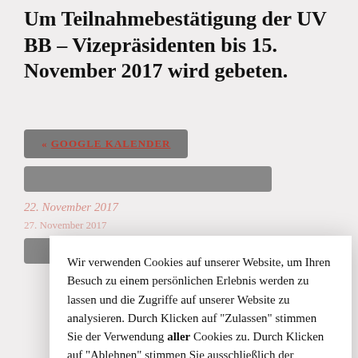Um Teilnahmebestätigung der UV BB – Vizepräsidenten bis 15. November 2017 wird gebeten.
« GOOGLE KALENDER
Wir verwenden Cookies auf unserer Website, um Ihren Besuch zu einem persönlichen Erlebnis werden zu lassen und die Zugriffe auf unserer Website zu analysieren. Durch Klicken auf "Zulassen" stimmen Sie der Verwendung aller Cookies zu. Durch Klicken auf "Ablehnen" stimmen Sie ausschließlich der Verwendung aller technisch notwendigen Cookies zu.
Sie können jedoch die Cookie-Einstellungen einsehen, um eine kontrollierte Einwilligung zu erteilen.
Mehr erfahren →
Einstellungen
Ablehnen
Zulassen